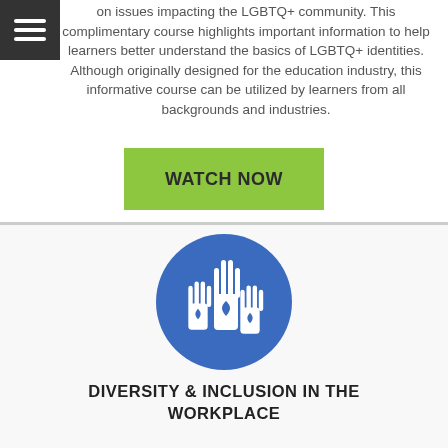on issues impacting the LGBTQ+ community. This complimentary course highlights important information to help learners better understand the basics of LGBTQ+ identities. Although originally designed for the education industry, this informative course can be utilized by learners from all backgrounds and industries.
WATCH NOW
[Figure (illustration): Blue circle icon with three raised white hands, each with a white heart on the palm, representing diversity and inclusion.]
DIVERSITY & INCLUSION IN THE WORKPLACE